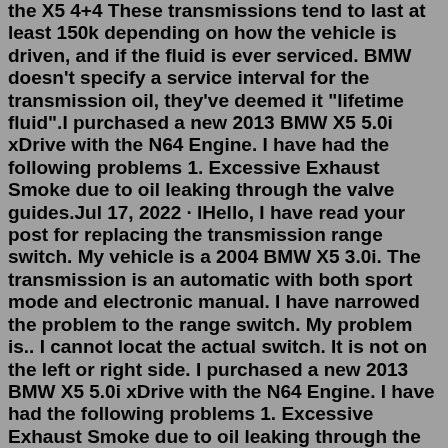the X5 4+4 These transmissions tend to last at least 150k depending on how the vehicle is driven, and if the fluid is ever serviced. BMW doesn't specify a service interval for the transmission oil, they've deemed it "lifetime fluid".I purchased a new 2013 BMW X5 5.0i xDrive with the N64 Engine. I have had the following problems 1. Excessive Exhaust Smoke due to oil leaking through the valve guides.Jul 17, 2022 · lHello, I have read your post for replacing the transmission range switch. My vehicle is a 2004 BMW X5 3.0i. The transmission is an automatic with both sport mode and electronic manual. I have narrowed the problem to the range switch. My problem is.. I cannot locat the actual switch. It is not on the left or right side. I purchased a new 2013 BMW X5 5.0i xDrive with the N64 Engine. I have had the following problems 1. Excessive Exhaust Smoke due to oil leaking through the valve guides. da fella store redditxa